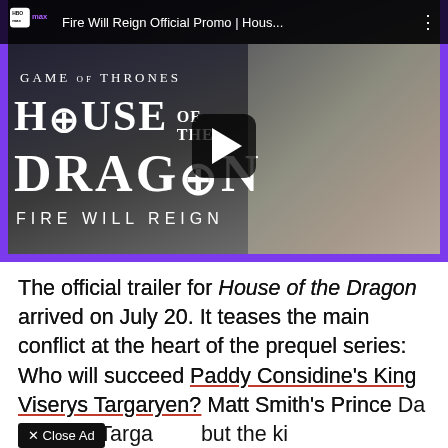[Figure (screenshot): YouTube video thumbnail for 'Fire Will Reign Official Promo | Hous...' for HBO Max House of the Dragon. Shows a white-haired character with Game of Thrones House of the Dragon branding and 'Fire Will Reign' text. Has a play button overlay. Purple border on left and bottom edges.]
The official trailer for House of the Dragon arrived on July 20. It teases the main conflict at the heart of the prequel series: Who will succeed Paddy Considine's King Viserys Targaryen? Matt Smith's Prince Da[emon] Targa[ryen]... but the ki[ng...]
[Figure (screenshot): Close Ad button overlay (dark box with X and 'Close Ad' text) and CNET advertisement bar at bottom with red text 'Expert advice and reporting on money, culture, wellness, and tech you can put to good use.' and CNET logo in red.]